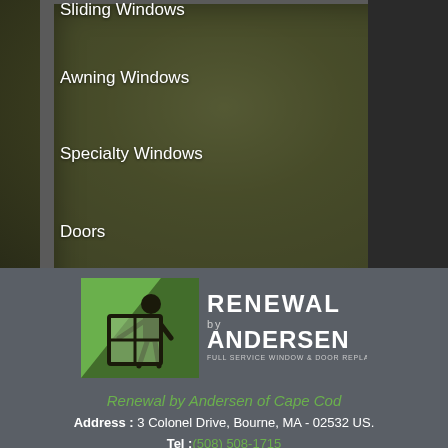[Figure (photo): Blurred background showing window frame with foliage visible through glass, dark shutters on right side]
Sliding Windows
Awning Windows
Specialty Windows
Doors
Patio Doors
[Figure (logo): Renewal by Andersen logo - green box with figure holding window, text RENEWAL by ANDERSEN FULL SERVICE WINDOW & DOOR REPLACEMENT]
Renewal by Andersen of Cape Cod
Address : 3 Colonel Drive, Bourne, MA - 02532 US.
Tel : (508) 508-1715